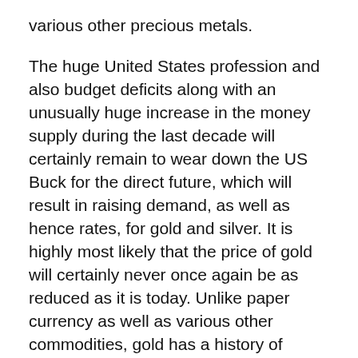various other precious metals.
The huge United States profession and also budget deficits along with an unusually huge increase in the money supply during the last decade will certainly remain to wear down the US Buck for the direct future, which will result in raising demand, as well as hence rates, for gold and silver. It is highly most likely that the price of gold will certainly never once again be as reduced as it is today. Unlike paper currency as well as various other commodities, gold has a history of holding its worth, and even climbing, throughout recessions.
Why is Gold So Important in Diversification?